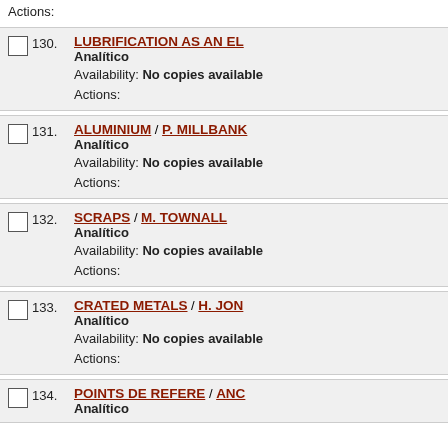Actions:
130. LUBRIFICATION AS AN EL
Analítico
Availability: No copies available
Actions:
131. ALUMINIUM / P. MILLBANK
Analítico
Availability: No copies available
Actions:
132. SCRAPS / M. TOWNALL
Analítico
Availability: No copies available
Actions:
133. CRATED METALS / H. JON
Analítico
Availability: No copies available
Actions:
134. POINTS DE REFERE / ANC
Analítico